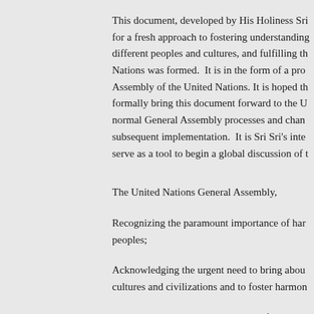This document, developed by His Holiness Sri for a fresh approach to fostering understanding different peoples and cultures, and fulfilling th Nations was formed.  It is in the form of a pro Assembly of the United Nations. It is hoped th formally bring this document forward to the U normal General Assembly processes and chan subsequent implementation.  It is Sri Sri's inte serve as a tool to begin a global discussion of t
The United Nations General Assembly,
Recognizing the paramount importance of har peoples;
Acknowledging the urgent need to bring abou cultures and civilizations and to foster harmon
Deeply concerned by increasing conflict and v
Determined to address the root causes of this i